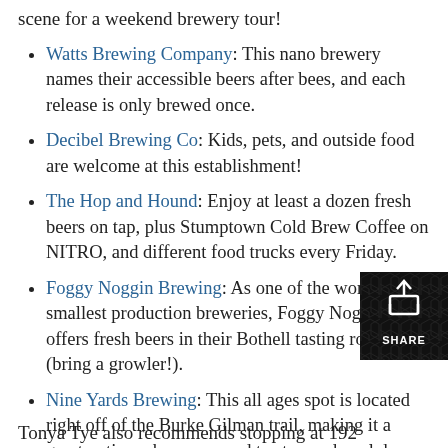scene for a weekend brewery tour!
Watts Brewing Company: This nano brewery names their accessible beers after bees, and each release is only brewed once.
Decibel Brewing Co: Kids, pets, and outside food are welcome at this establishment!
The Hop and Hound: Enjoy at least a dozen fresh beers on tap, plus Stumptown Cold Brew Coffee on NITRO, and different food trucks every Friday.
Foggy Noggin Brewing: As one of the world's smallest production breweries, Foggy Noggin offers fresh beers in their Bothell tasting room (bring a growler!).
Nine Yards Brewing: This all ages spot is located right off of the Burke Gilman trail, making it a great option when you need to stop and cool down.
Tonya Tye also recommends stopping at 192